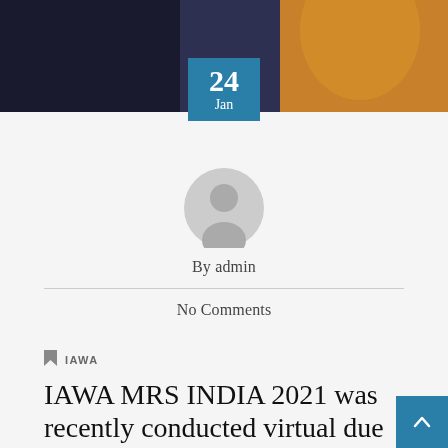[Figure (photo): Banner photo of a person in orange/saffron colored clothing against a dark blue background]
24 Jan
[Figure (illustration): Generic grey avatar/profile icon of a person silhouette]
By admin
No Comments
IAWA
IAWA MRS INDIA 2021 was recently conducted virtual due to covid from 10 th to